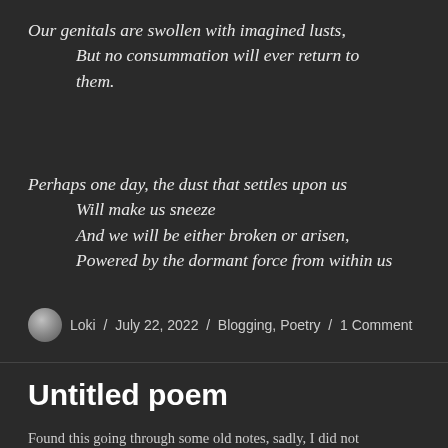Our genitals are swollen with imagined lusts,
    But no consummation will ever return to
    them.
Perhaps one day, the dust that settles upon us
    Will make us sneeze
    And we will be either broken or arisen,
    Powered by the dormant force from within us
Loki / July 22, 2022 / Blogging, Poetry / 1 Comment
Untitled poem
Found this going through some old notes, sadly, I did not